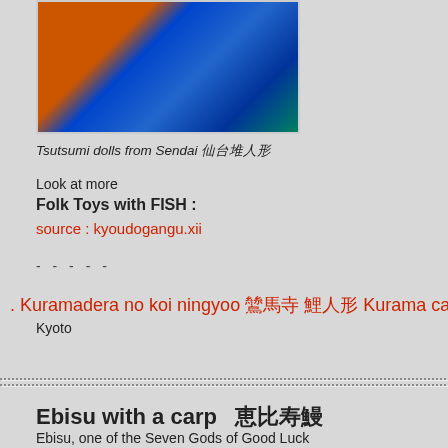[Figure (photo): Tsutsumi dolls from Sendai — colorful ceramic figurines on a green background]
Tsutsumi dolls from Sendai 仙台堤人形
Look at more
Folk Toys with FISH :
source : kyoudogangu.xii
- - - - -
. Kuramadera no koi ningyoo 鞍馬寺 鯉人形 Kurama ca Kyoto
Ebisu with a carp　恵比寿鯛
Ebisu, one of the Seven Gods of Good Luck